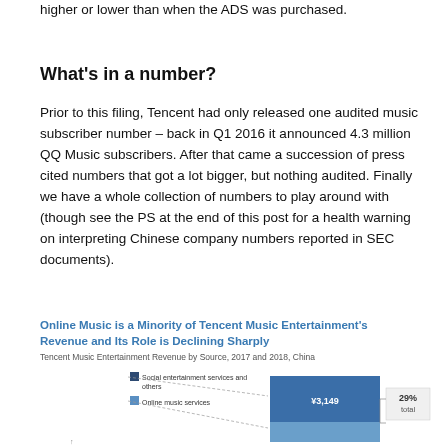higher or lower than when the ADS was purchased.
What's in a number?
Prior to this filing, Tencent had only released one audited music subscriber number – back in Q1 2016 it announced 4.3 million QQ Music subscribers. After that came a succession of press cited numbers that got a lot bigger, but nothing audited. Finally we have a whole collection of numbers to play around with (though see the PS at the end of this post for a health warning on interpreting Chinese company numbers reported in SEC documents).
[Figure (bar-chart): Tencent Music Entertainment Revenue by Source, 2017 and 2018, China. Shows two bars with social entertainment services and others vs online music services. Values shown: ¥3,149 and 29% total label visible.]